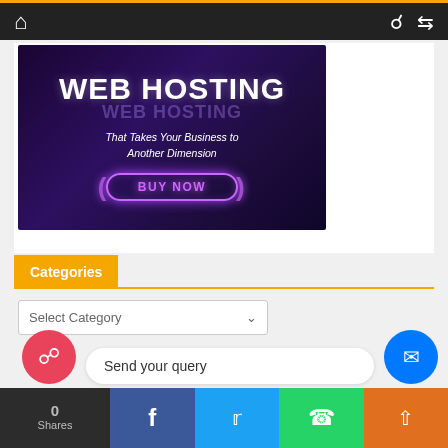Navigation bar with home icon, search, and shuffle icons
[Figure (illustration): Web hosting advertisement banner with dark purple background, bold 'WEB HOSTING' title, tagline 'That Takes Your Business to Another Dimension', and neon 'BUY NOW' button]
Categories
Select Category
Send your query
0 Shares — Facebook, Twitter, WhatsApp, Share social bar